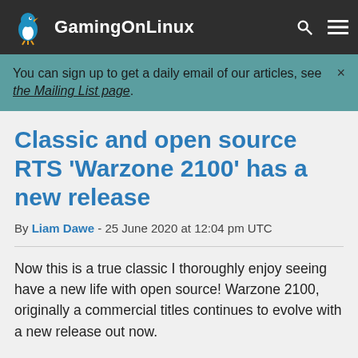GamingOnLinux
You can sign up to get a daily email of our articles, see the Mailing List page.
Classic and open source RTS 'Warzone 2100' has a new release
By Liam Dawe - 25 June 2020 at 12:04 pm UTC
Now this is a true classic I thoroughly enjoy seeing have a new life with open source! Warzone 2100, originally a commercial titles continues to evolve with a new release out now.
After the original developer, Pumpkin Studios and Eidos allowed the source code to be released back in 2004 all proprietary technologies have been replaced with open-source counterparts and it works great on